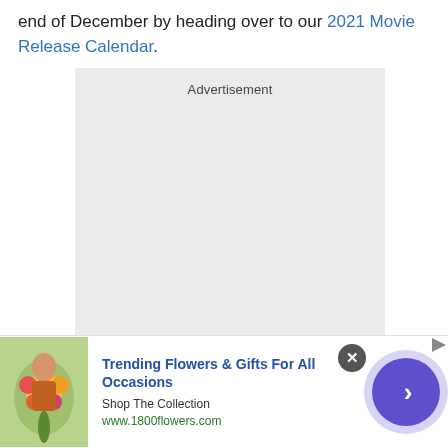end of December by heading over to our 2021 Movie Release Calendar.
[Figure (other): Advertisement placeholder box with gray background and 'Advertisement' label at top]
[Figure (other): Bottom banner advertisement for 1800flowers.com: 'Trending Flowers & Gifts For All Occasions', 'Shop The Collection', 'www.1800flowers.com', with photo of woman with flowers and purple arrow button]